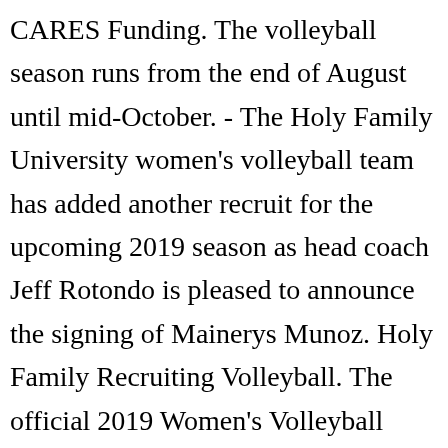CARES Funding. The volleyball season runs from the end of August until mid-October. - The Holy Family University women's volleyball team has added another recruit for the upcoming 2019 season as head coach Jeff Rotondo is pleased to announce the signing of Mainerys Munoz. Holy Family Recruiting Volleyball. The official 2019 Women's Volleyball schedule for the Caldwell University Cougars. Shop Sports at The Holy Family University Bookstore. Holy Family High School 5195 West 144th Avenue, Broomfield, CO